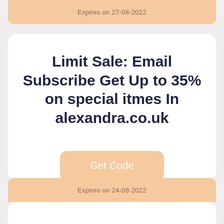Expires on 27-08-2022
Limit Sale: Email Subscribe Get Up to 35% on special itmes In alexandra.co.uk
Get Code
Expires on 24-08-2022